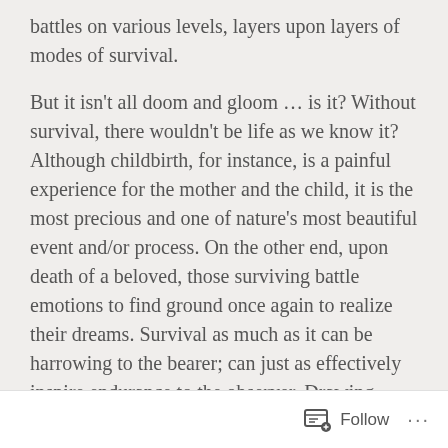battles on various levels, layers upon layers of modes of survival.

But it isn't all doom and gloom … is it? Without survival, there wouldn't be life as we know it? Although childbirth, for instance, is a painful experience for the mother and the child, it is the most precious and one of nature's most beautiful event and/or process. On the other end, upon death of a beloved, those surviving battle emotions to find ground once again to realize their dreams. Survival as much as it can be harrowing to the bearer; can just as effectively inspire endurance to the observer. Drawing inspiration from survival in nature has evolved life
Follow ···